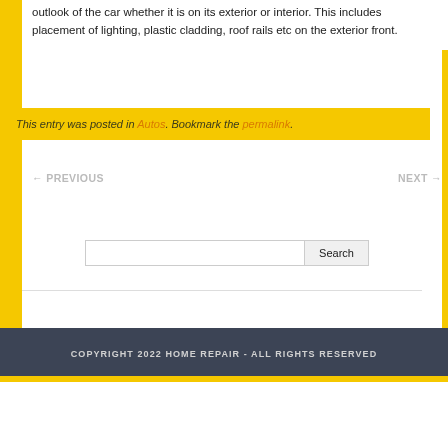outlook of the car whether it is on its exterior or interior. This includes placement of lighting, plastic cladding, roof rails etc on the exterior front.
This entry was posted in Autos. Bookmark the permalink.
← PREVIOUS
NEXT →
COPYRIGHT 2022 HOME REPAIR - ALL RIGHTS RESERVED